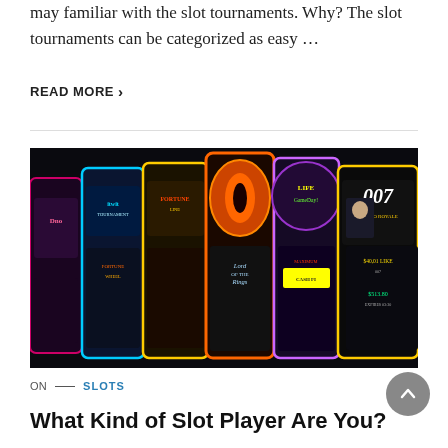may familiar with the slot tournaments. Why? The slot tournaments can be categorized as easy …
READ MORE ›
[Figure (photo): Row of colorful slot machines with various themed displays including Lord of the Rings, 007, and others, in a dark casino setting.]
ON — SLOTS
What Kind of Slot Player Are You?